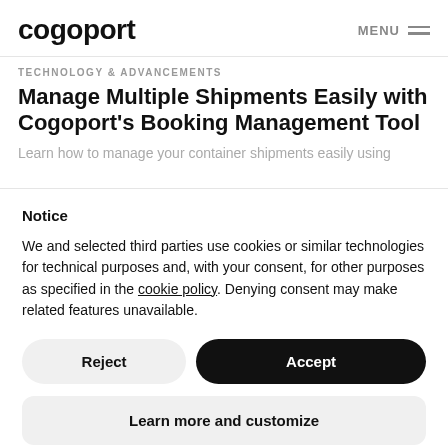cogoport   MENU
TECHNOLOGY & ADVANCEMENTS
Manage Multiple Shipments Easily with Cogoport's Booking Management Tool
Learn how to manage your container shipments easily using
Notice
We and selected third parties use cookies or similar technologies for technical purposes and, with your consent, for other purposes as specified in the cookie policy. Denying consent may make related features unavailable.
Reject
Accept
Learn more and customize